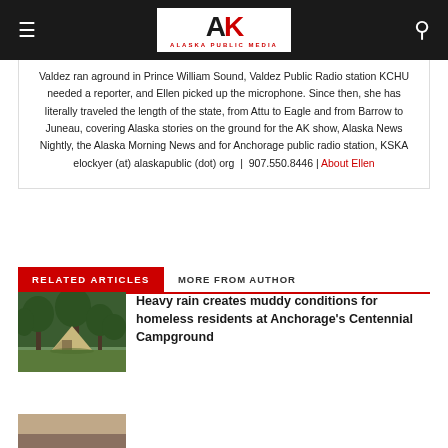Alaska Public Media
Valdez ran aground in Prince William Sound, Valdez Public Radio station KCHU needed a reporter, and Ellen picked up the microphone. Since then, she has literally traveled the length of the state, from Attu to Eagle and from Barrow to Juneau, covering Alaska stories on the ground for the AK show, Alaska News Nightly, the Alaska Morning News and for Anchorage public radio station, KSKA elockyer (at) alaskapublic (dot) org | 907.550.8446 | About Ellen
RELATED ARTICLES
MORE FROM AUTHOR
[Figure (photo): Tent in a wooded area with green foliage, representing homeless camping conditions]
Heavy rain creates muddy conditions for homeless residents at Anchorage's Centennial Campground